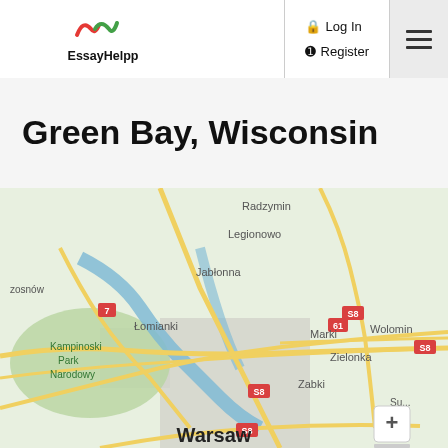EssayHelpp — Log In | Register
Green Bay, Wisconsin
[Figure (map): Google Maps view showing Warsaw, Poland area including Legionowo, Jabłonna, Łomianki, Kampinoski Park Narodowy, Marki, Zielonka, Zabki, Wolomin, Radzymin, and Warsaw city center with roads and rivers labeled.]